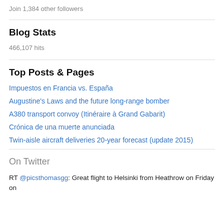Join 1,384 other followers
Blog Stats
466,107 hits
Top Posts & Pages
Impuestos en Francia vs. España
Augustine's Laws and the future long-range bomber
A380 transport convoy (Itinéraire à Grand Gabarit)
Crónica de una muerte anunciada
Twin-aisle aircraft deliveries 20-year forecast (update 2015)
On Twitter
RT @picsthomasgg: Great flight to Helsinki from Heathrow on Friday on